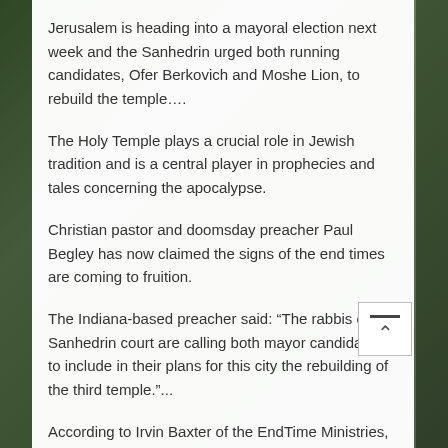Jerusalem is heading into a mayoral election next week and the Sanhedrin urged both running candidates, Ofer Berkovich and Moshe Lion, to rebuild the temple….
The Holy Temple plays a crucial role in Jewish tradition and is a central player in prophecies and tales concerning the apocalypse.
Christian pastor and doomsday preacher Paul Begley has now claimed the signs of the end times are coming to fruition.
The Indiana-based preacher said: “The rabbis of the Sanhedrin court are calling both mayor candidates to include in their plans for this city the rebuilding of the third temple.”...
According to Irvin Baxter of the EndTime Ministries, the third Holy Temple will be rebuilt in